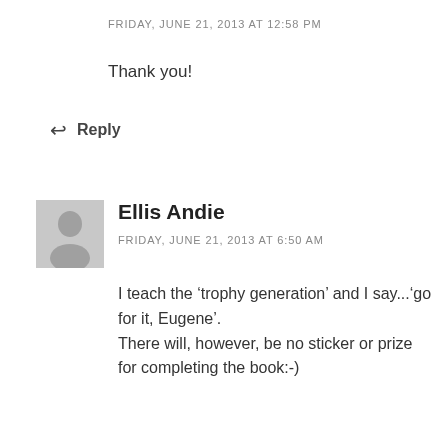FRIDAY, JUNE 21, 2013 AT 12:58 PM
Thank you!
↩ Reply
[Figure (illustration): Grey avatar placeholder showing a silhouette of a person]
Ellis Andie
FRIDAY, JUNE 21, 2013 AT 6:50 AM
I teach the ‘trophy generation’ and I say...‘go for it, Eugene’. There will, however, be no sticker or prize for completing the book:-)